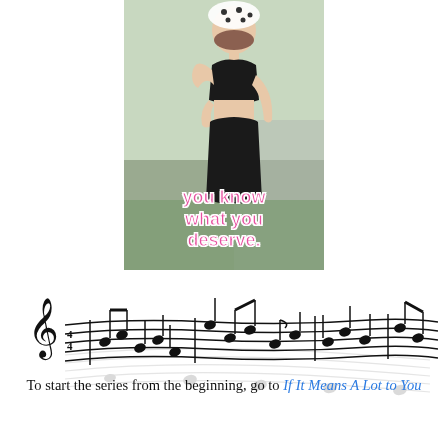[Figure (photo): Photo of a woman in a black bikini top and black skirt posing outdoors near a road, wearing a polka-dot headscarf. Text overlay reads 'you know what you deserve.']
[Figure (illustration): Musical score notation — a decorative wavy staff with treble clef and musical notes arranged in a curved, flowing line.]
To start the series from the beginning, go to If It Means A Lot to You